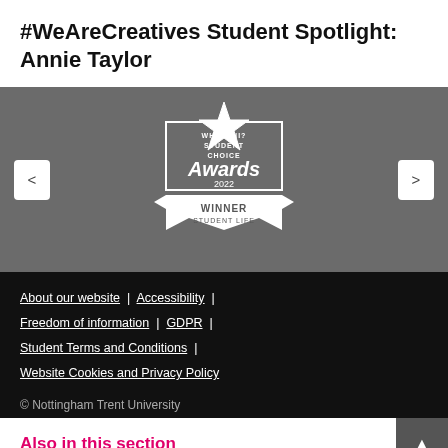#WeAreCreatives Student Spotlight: Annie Taylor
[Figure (logo): WhatUni? Student Choice Awards 2022 – Winner Student Life logo/badge on grey background with nav arrows]
About our website | Accessibility | Freedom of information | GDPR | Student Terms and Conditions | Website Cookies and Privacy Policy
© Nottingham Trent University
Also in this section